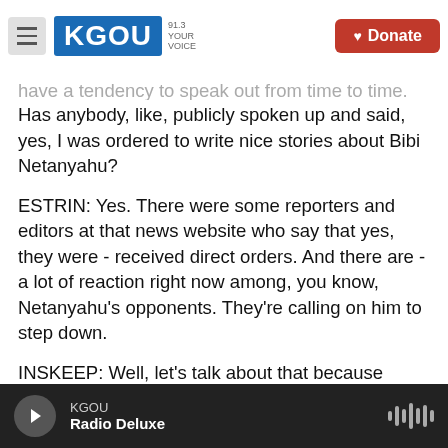KGOU | Donate
have a tendency to speak out from time to time. Has anybody, like, publicly spoken up and said, yes, I was ordered to write nice stories about Bibi Netanyahu?
ESTRIN: Yes. There were some reporters and editors at that news website who say that yes, they were - received direct orders. And there are - a lot of reaction right now among, you know, Netanyahu's opponents. They're calling on him to step down.
INSKEEP: Well, let's talk about that because you're in the middle of an election campaign. Has this
KGOU | Radio Deluxe